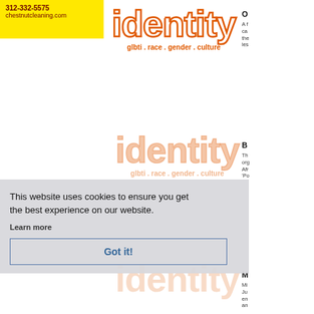[Figure (logo): Yellow background advertisement block with phone number 312-332-5575 and website chestnutcleaning.com]
[Figure (logo): Identity magazine logo with outline text 'identity' in orange, tagline 'glbti . race . gender . culture']
O
A f ca the les
[Figure (logo): Second Identity magazine logo, slightly faded, with tagline 'glbti . race . gender . culture']
B
Th org Afr 'Po
This website uses cookies to ensure you get the best experience on our website.
Learn more
Got it!
[Figure (logo): Third Identity magazine logo, more faded]
M
Mi Ju en an